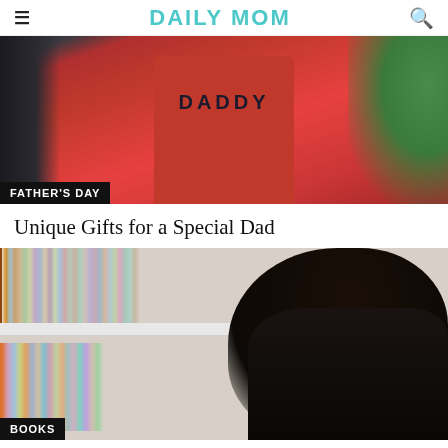DAILY MOM
[Figure (photo): Child wearing a red DADDY t-shirt outdoors with greenery in background. Label: FATHER'S DAY]
Unique Gifts for a Special Dad
[Figure (photo): Young Black woman with hair in a bun, looking at a bookshelf filled with colorful books. Label: BOOKS]